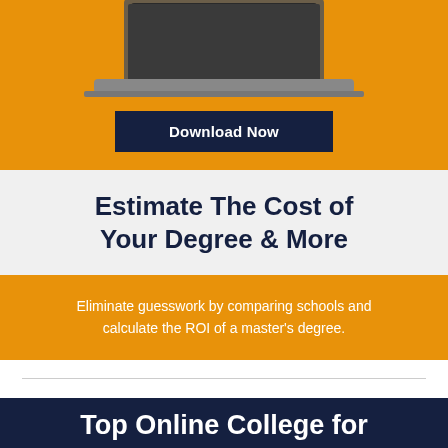[Figure (illustration): Laptop computer displayed on an orange background at the top of the page]
Download Now
Estimate The Cost of Your Degree & More
Eliminate guesswork by comparing schools and calculate the ROI of a master's degree.
Top Online College for